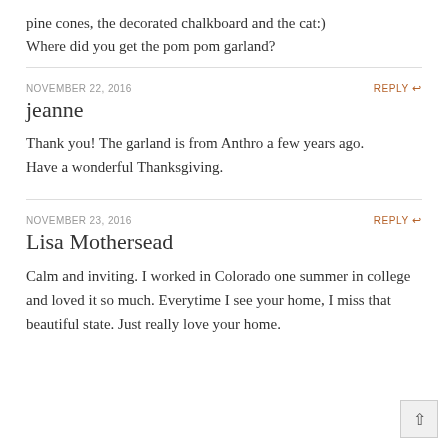pine cones, the decorated chalkboard and the cat:)
Where did you get the pom pom garland?
NOVEMBER 22, 2016
REPLY
jeanne
Thank you! The garland is from Anthro a few years ago. Have a wonderful Thanksgiving.
NOVEMBER 23, 2016
REPLY
Lisa Mothersead
Calm and inviting. I worked in Colorado one summer in college and loved it so much. Everytime I see your home, I miss that beautiful state. Just really love your home.